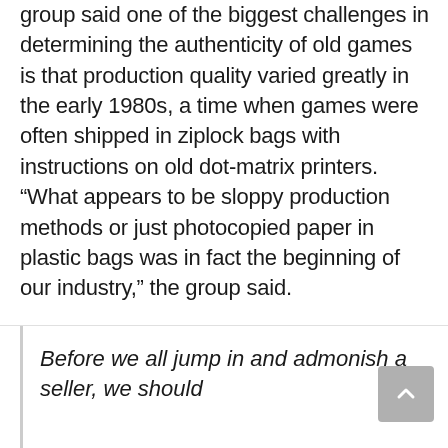group said one of the biggest challenges in determining the authenticity of old games is that production quality varied greatly in the early 1980s, a time when games were often shipped in ziplock bags with instructions on old dot-matrix printers. “What appears to be sloppy production methods or just photocopied paper in plastic bags was in fact the beginning of our industry,” the group said.
Garriott himself alluded to this difficulty on Twitter, saying it’s possible that the games are legitimate, “but pirated versions”.
Before we all jump in and admonish a seller, we should